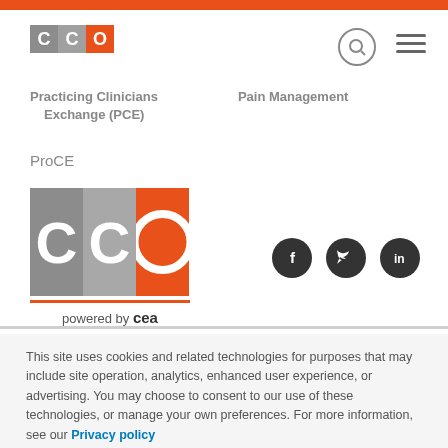[Figure (logo): CCO logo small in navigation header — three squares: gray C, gray C, orange O]
Practicing Clinicians Exchange (PCE)
Pain Management
ProCE
[Figure (logo): CCO large logo — three squares: gray C, gray C, orange O with circle, red underline, 'powered by cea' text below]
[Figure (illustration): Social media icons: Facebook (f), Twitter (bird), LinkedIn (in) as dark circles]
This site uses cookies and related technologies for purposes that may include site operation, analytics, enhanced user experience, or advertising. You may choose to consent to our use of these technologies, or manage your own preferences. For more information, see our Privacy policy
Accept
Manage Settings